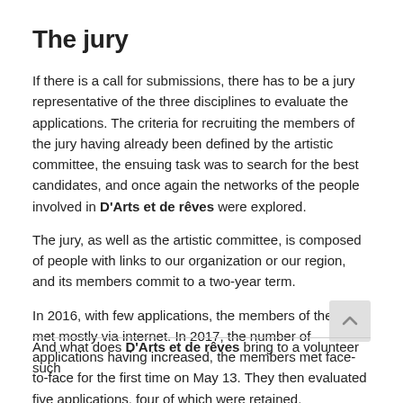The jury
If there is a call for submissions, there has to be a jury representative of the three disciplines to evaluate the applications. The criteria for recruiting the members of the jury having already been defined by the artistic committee, the ensuing task was to search for the best candidates, and once again the networks of the people involved in D'Arts et de rêves were explored.
The jury, as well as the artistic committee, is composed of people with links to our organization or our region, and its members commit to a two-year term.
In 2016, with few applications, the members of the jury met mostly via internet. In 2017, the number of applications having increased, the members met face-to-face for the first time on May 13. They then evaluated five applications, four of which were retained.
And what does D'Arts et de rêves bring to a volunteer such